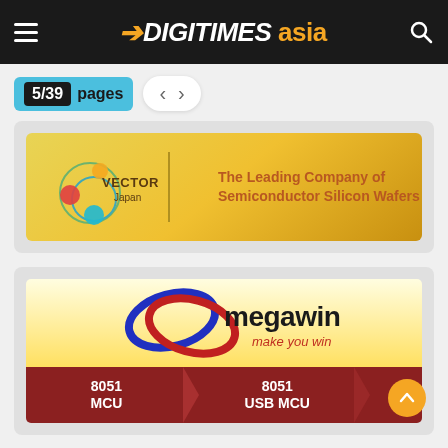DIGITIMES asia
5/39 pages
[Figure (logo): Vector Japan advertisement banner - The Leading Company of Semiconductor Silicon Wafers]
[Figure (logo): Megawin advertisement - make you win - 8051 MCU, 8051 USB MCU]